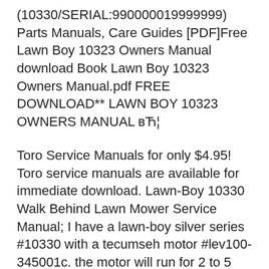(10330/SERIAL:990000019999999) Parts Manuals, Care Guides [PDF]Free Lawn Boy 10323 Owners Manual download Book Lawn Boy 10323 Owners Manual.pdf FREE DOWNLOAD** LAWN BOY 10323 OWNERS MANUAL вЋ¦
Toro Service Manuals for only $4.95! Toro service manuals are available for immediate download. Lawn-Boy 10330 Walk Behind Lawn Mower Service Manual; I have a lawn-boy silver series #10330 with a tecumseh motor #lev100-345001c. the motor will run for 2 to 5 seconds when - Answered by a verified Technician
2008-03-28В В· I just replaced my